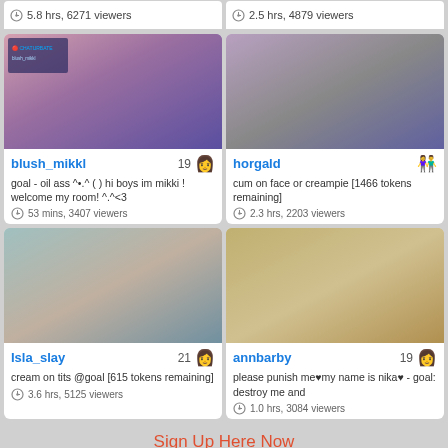5.8 hrs, 6271 viewers
2.5 hrs, 4879 viewers
[Figure (photo): Live stream thumbnail of blush_mikkl]
blush_mikkl 19 - goal - oil ass ^•.^ ( ) hi boys im mikki ! welcome my room! ^.^<3 - 53 mins, 3407 viewers
[Figure (photo): Live stream thumbnail of horgald]
horgald - cum on face or creampie [1466 tokens remaining] - 2.3 hrs, 2203 viewers
[Figure (photo): Live stream thumbnail of Isla_slay]
Isla_slay 21 - cream on tits @goal [615 tokens remaining] - 3.6 hrs, 5125 viewers
[Figure (photo): Live stream thumbnail of annbarby]
annbarby 19 - please punish me♥my name is nika♥ - goal: destroy me and - 1.0 hrs, 3084 viewers
Sign Up Here Now